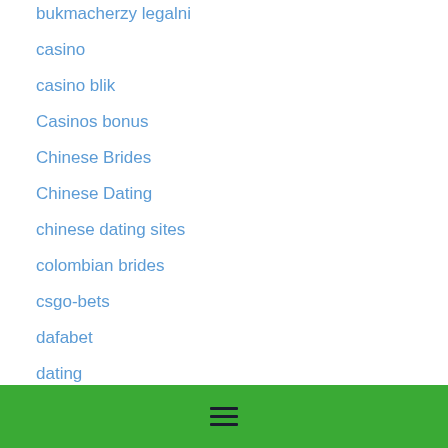bukmacherzy legalni
casino
casino blik
Casinos bonus
Chinese Brides
Chinese Dating
chinese dating sites
colombian brides
csgo-bets
dafabet
dating
dating culture
dating in latin america
dating sites
Dating Sites For Marriage
Dating Sites Ukraine
[Figure (other): Green footer bar with hamburger menu icon (three horizontal lines)]